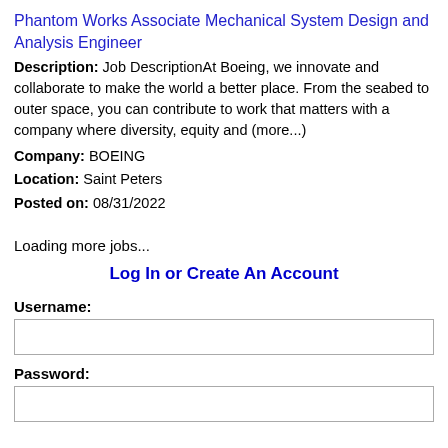Phantom Works Associate Mechanical System Design and Analysis Engineer
Description: Job DescriptionAt Boeing, we innovate and collaborate to make the world a better place. From the seabed to outer space, you can contribute to work that matters with a company where diversity, equity and (more...)
Company: BOEING
Location: Saint Peters
Posted on: 08/31/2022
Loading more jobs...
Log In or Create An Account
Username:
Password: